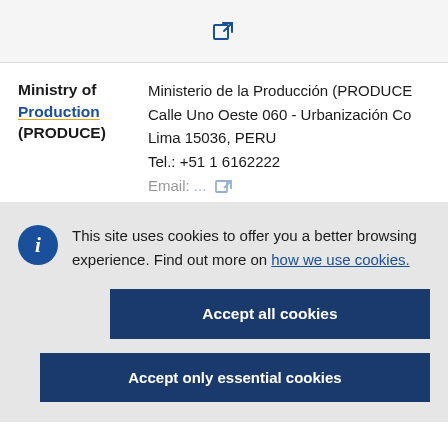[Figure (other): External link icon (blue square with arrow)]
Ministry of Production (PRODUCE)
Ministerio de la Producción (PRODUCE)
Calle Uno Oeste 060 - Urbanización Co
Lima 15036, PERU
Tel.: +51 1 6162222
This site uses cookies to offer you a better browsing experience. Find out more on how we use cookies.
Accept all cookies
Accept only essential cookies